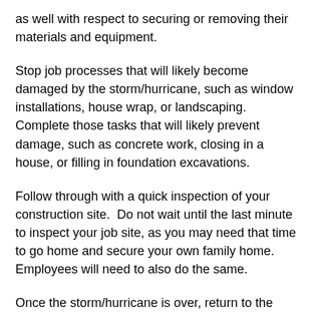as well with respect to securing or removing their materials and equipment.
Stop job processes that will likely become damaged by the storm/hurricane, such as window installations, house wrap, or landscaping.  Complete those tasks that will likely prevent damage, such as concrete work, closing in a house, or filling in foundation excavations.
Follow through with a quick inspection of your construction site.  Do not wait until the last minute to inspect your job site, as you may need that time to go home and secure your own family home.  Employees will need to also do the same.
Once the storm/hurricane is over, return to the construction site for damage inspection only when the all clear sign has been given by the Emergency Operations Center (EOC) headed by